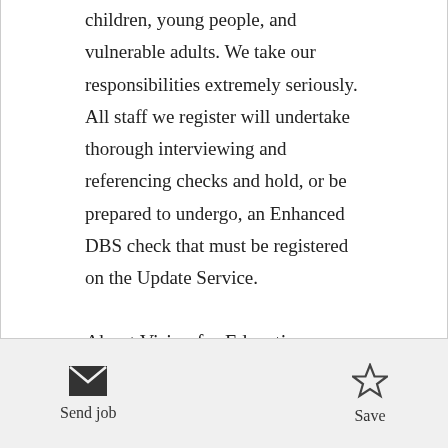children, young people, and vulnerable adults. We take our responsibilities extremely seriously. All staff we register will undertake thorough interviewing and referencing checks and hold, or be prepared to undergo, an Enhanced DBS check that must be registered on the Update Service.
About Vision for Education
Vision for education is a market- leading education recruitment and supply agency committed to the learning and development of young people. With branches across the country, we are an employer of choice for high-quality
Send job   Save